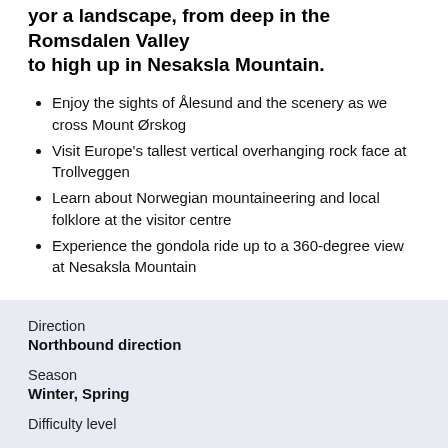yor a landscape, from deep in the Romsdalen Valley to high up in Nesaksla Mountain.
Enjoy the sights of Ålesund and the scenery as we cross Mount Ørskog
Visit Europe's tallest vertical overhanging rock face at Trollveggen
Learn about Norwegian mountaineering and local folklore at the visitor centre
Experience the gondola ride up to a 360-degree view at Nesaksla Mountain
Direction
Northbound direction
Season
Winter, Spring
Difficulty level